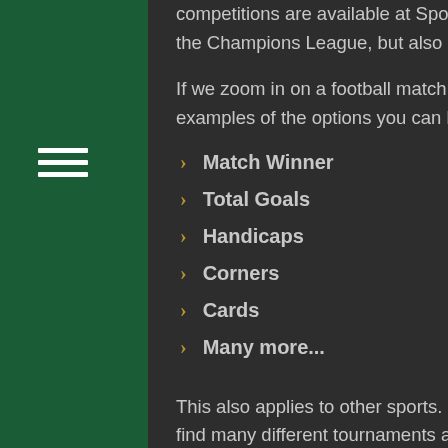competitions are available at Sportaza. If we're looking at football, you can bet on the Champions League, but also on the smaller competitions in Peru or Colombia.
If we zoom in on a football match, you can bet on dozens of different options. Some examples of the options you can bet on are;
Match Winner
Total Goals
Handicaps
Corners
Cards
Many more...
This also applies to other sports. For example; within the tennis section you can find many different tournaments and matches, but also multiple options per match you can bet on. Every moment of the day